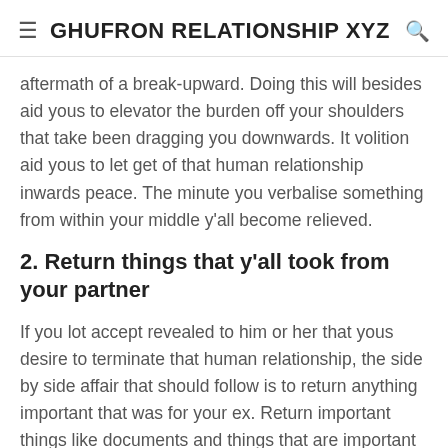≡ GHUFRON RELATIONSHIP XYZ 🔍
aftermath of a break-upward. Doing this will besides aid yous to elevator the burden off your shoulders that take been dragging you downwards. It volition aid yous to let get of that human relationship inwards peace. The minute you verbalise something from within your middle y'all become relieved.
2. Return things that y'all took from your partner
If you lot accept revealed to him or her that yous desire to terminate that human relationship, the side by side affair that should follow is to return anything important that was for your ex. Return important things like documents and things that are important to him or her. Doing this will cutting your ties amongst him or her completely. This is